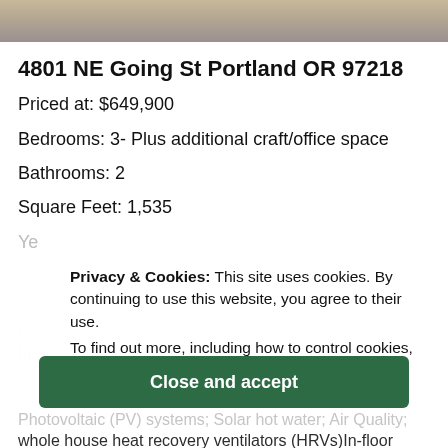[Figure (photo): Top strip of an exterior photo showing pavement/driveway and garden area]
4801 NE Going St Portland OR 97218
Priced at: $649,900
Bedrooms: 3- Plus additional craft/office space
Bathrooms: 2
Square Feet: 1,535
Privacy & Cookies: This site uses cookies. By continuing to use this website, you agree to their use.
To find out more, including how to control cookies, see here:
Cookie Policy
Close and accept
Photovoltaic (PV) systems; Solar hot water; Air Quality; whole house heat recovery ventilators (HRVs)In-floor